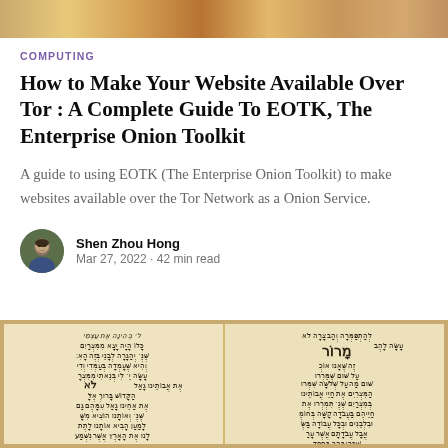[Figure (photo): Top decorative image strip with warm golden/brown tones]
COMPUTING
How to Make Your Website Available Over Tor : A Complete Guide To EOTK, The Enterprise Onion Toolkit
A guide to using EOTK (The Enterprise Onion Toolkit) to make websites available over the Tor Network as a Onion Service.
Shen Zhou Hong
Mar 27, 2022 · 42 min read
[Figure (photo): Ancient Hebrew manuscript showing two pages of handwritten Hebrew text in a Haggadah or similar religious manuscript]